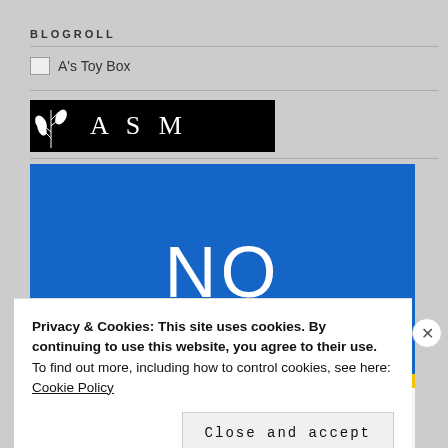BLOGROLL
A's Toy Box
[Figure (logo): ASM logo banner — black background with white plant/wheat icon on left and 'ASM' serif text in center]
[Figure (illustration): Blue rectangle banner with large white text 'NO' centered, yellow strip at bottom]
Privacy & Cookies: This site uses cookies. By continuing to use this website, you agree to their use.
To find out more, including how to control cookies, see here: Cookie Policy
Close and accept